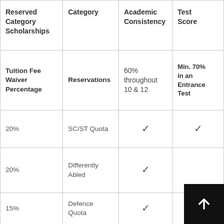| Reserved Category Scholarships | Category | Academic Consistency | Test Score |
| --- | --- | --- | --- |
| Tuition Fee Waiver Percentage | Reservations | 60% throughout 10 & 12 | Min. 70% in an Entrance Test |
| 20% | SC/ST Quota | ✓ | ✓ |
| 20% | Differently Abled | ✓ |  |
| 15% | Defence Quota | ✓ | ✓ |